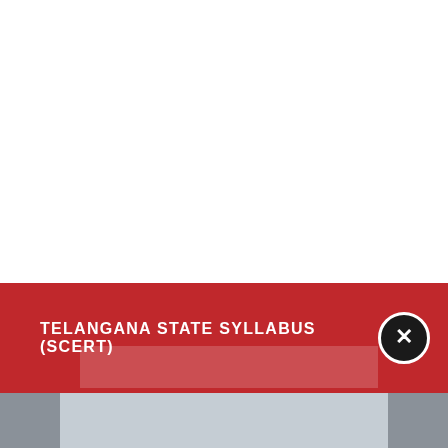[Figure (screenshot): UI overlay element with a red banner showing 'TELANGANA STATE SYLLABUS (SCERT)' text in white bold uppercase letters, a circular close button with an X icon on the right, and a gray bar at the bottom of the page.]